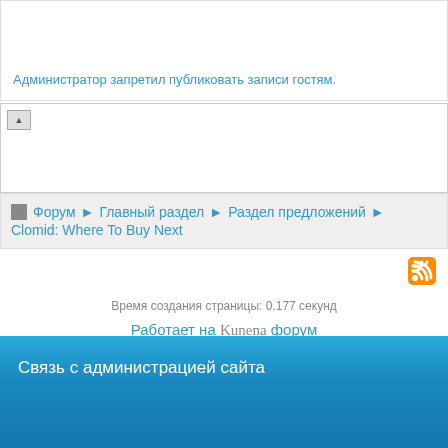Администратор запретил публиковать записи гостям.
▲
Форум ▶ Главный раздел ▶ Раздел предложений ▶ Clomid: Where To Buy Next
[Figure (logo): RSS feed icon, orange]
Время создания страницы: 0.177 секунд
Работает на Kunena форум
Связь с администрацией сайта